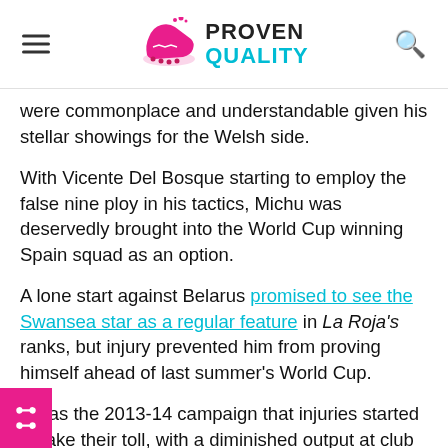PROVEN QUALITY
were commonplace and understandable given his stellar showings for the Welsh side.
With Vicente Del Bosque starting to employ the false nine ploy in his tactics, Michu was deservedly brought into the World Cup winning Spain squad as an option.
A lone start against Belarus promised to see the Swansea star as a regular feature in La Roja's ranks, but injury prevented him from proving himself ahead of last summer's World Cup.
It was the 2013-14 campaign that injuries started to take their toll, with a diminished output at club level from the attacker.